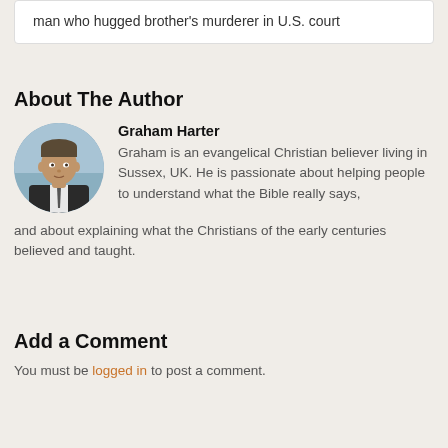man who hugged brother's murderer in U.S. court
About The Author
[Figure (photo): Circular headshot photo of Graham Harter, a man in a suit, outdoors with blurred background.]
Graham Harter
Graham is an evangelical Christian believer living in Sussex, UK. He is passionate about helping people to understand what the Bible really says, and about explaining what the Christians of the early centuries believed and taught.
Add a Comment
You must be logged in to post a comment.